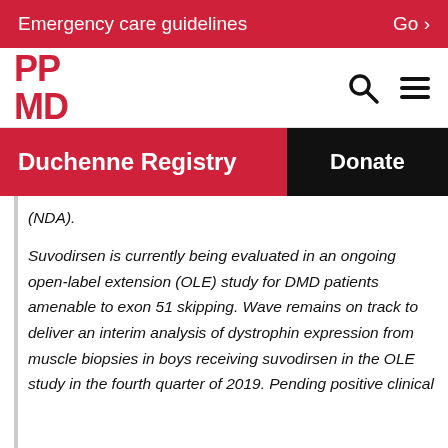Emergency care guidelines  Go >
[Figure (logo): PPMD logo in red with search and hamburger menu icons]
Duchenne Registry
Donate
(NDA).
Suvodirsen is currently being evaluated in an ongoing open-label extension (OLE) study for DMD patients amenable to exon 51 skipping. Wave remains on track to deliver an interim analysis of dystrophin expression from muscle biopsies in boys receiving suvodirsen in the OLE study in the fourth quarter of 2019. Pending positive clinical